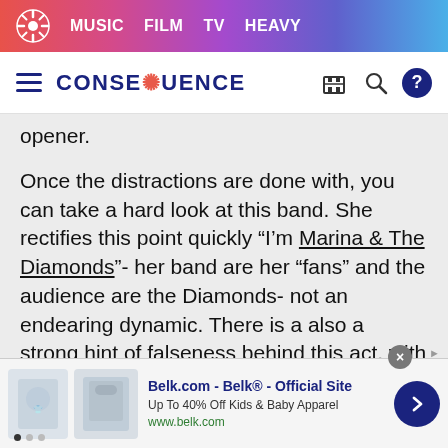MUSIC  FILM  TV  HEAVY
CONSEQUENCE (navigation bar with hamburger, search, help icons)
opener.
Once the distractions are done with, you can take a hard look at this band. She rectifies this point quickly "I'm Marina & The Diamonds"- her band are her "fans" and the audience are the Diamonds- not an endearing dynamic. There is a also a strong hint of falseness behind this act, with the polished dance moves and identikit Florence & The Machine copy-cat name. They have arrived just in time to ride her success.
[Figure (screenshot): Advertisement banner for Belk.com showing kids clothing images, text 'Belk.com - Belk® - Official Site', 'Up To 40% Off Kids & Baby Apparel', 'www.belk.com', with a blue arrow button and close X button]